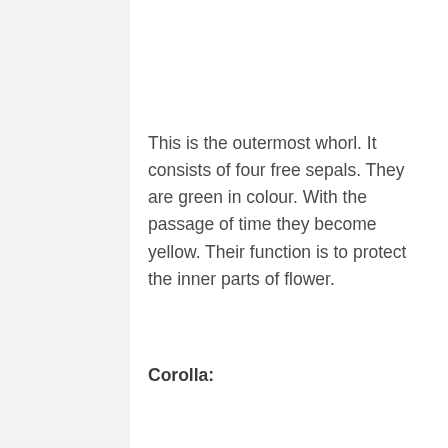This is the outermost whorl. It consists of four free sepals. They are green in colour. With the passage of time they become yellow. Their function is to protect the inner parts of flower.
Corolla:
This is the second whorl. It consists of colourful petals. They are yellow in colour. Their function is to attract the insects so that pollination takes place.